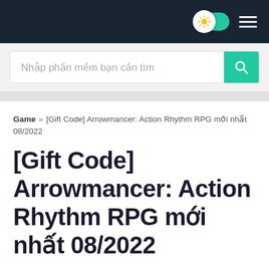Navigation bar with light/dark toggle and hamburger menu
Nhập phần mềm bạn cần tìm
Game » [Gift Code] Arrowmancer: Action Rhythm RPG mới nhất 08/2022
[Gift Code] Arrowmancer: Action Rhythm RPG mới nhất 08/2022